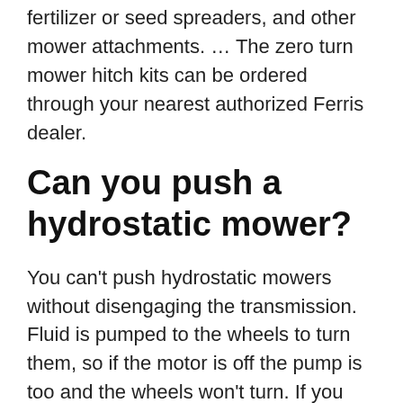fertilizer or seed spreaders, and other mower attachments. ... The zero turn mower hitch kits can be ordered through your nearest authorized Ferris dealer.
Can you push a hydrostatic mower?
You can't push hydrostatic mowers without disengaging the transmission. Fluid is pumped to the wheels to turn them, so if the motor is off the pump is too and the wheels won't turn. If you push the mower when it's off, the fluid already at the wheels will flow back into the pump and damage it.
Can you pull a yard roller with a zero turn mower?